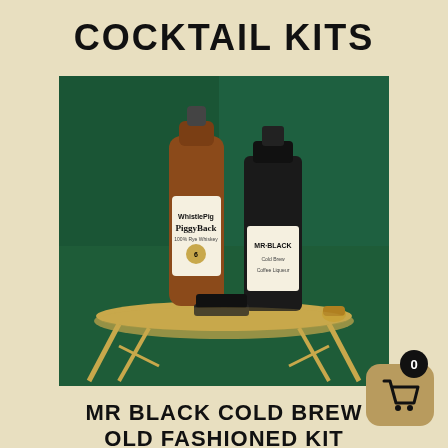COCKTAIL KITS
[Figure (photo): Two bottles on a gold-legged glass side table against a green velvet background: WhistlePig PiggyBack 100% Rye whiskey and Mr. Black cold brew coffee liqueur, along with a small black tin and a cork.]
MR BLACK COLD BREW OLD FASHIONED KIT